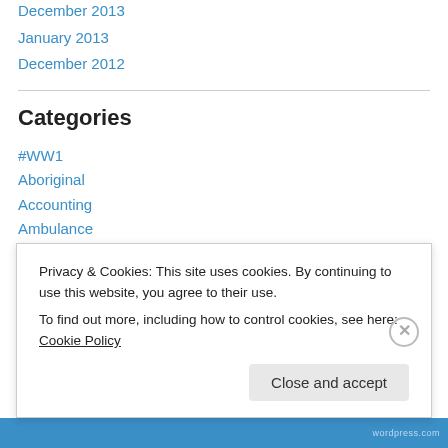December 2013
January 2013
December 2012
Categories
#WW1
Aboriginal
Accounting
Ambulance
Australia
Book Reviews
CPA
Privacy & Cookies: This site uses cookies. By continuing to use this website, you agree to their use.
To find out more, including how to control cookies, see here: Cookie Policy
Close and accept